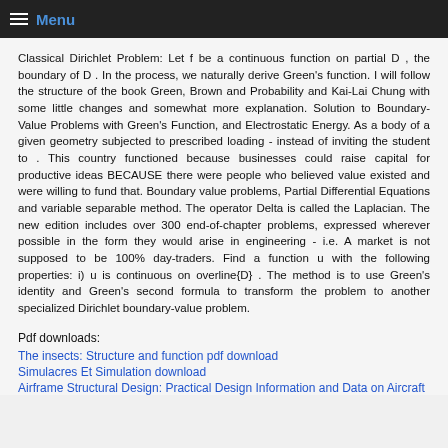Menu
Classical Dirichlet Problem: Let f be a continuous function on partial D , the boundary of D . In the process, we naturally derive Green's function. I will follow the structure of the book Green, Brown and Probability and Kai-Lai Chung with some little changes and somewhat more explanation. Solution to Boundary-Value Problems with Green's Function, and Electrostatic Energy. As a body of a given geometry subjected to prescribed loading - instead of inviting the student to . This country functioned because businesses could raise capital for productive ideas BECAUSE there were people who believed value existed and were willing to fund that. Boundary value problems, Partial Differential Equations and variable separable method. The operator Delta is called the Laplacian. The new edition includes over 300 end-of-chapter problems, expressed wherever possible in the form they would arise in engineering - i.e. A market is not supposed to be 100% day-traders. Find a function u with the following properties: i) u is continuous on overline{D} . The method is to use Green's identity and Green's second formula to transform the problem to another specialized Dirichlet boundary-value problem.
Pdf downloads:
The insects: Structure and function pdf download
Simulacres Et Simulation download
Airframe Structural Design: Practical Design Information and Data on Aircraft